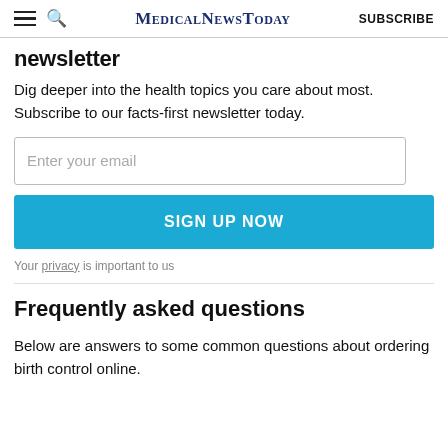MedicalNewsToday | SUBSCRIBE
newsletter
Dig deeper into the health topics you care about most. Subscribe to our facts-first newsletter today.
Enter your email
SIGN UP NOW
Your privacy is important to us
Frequently asked questions
Below are answers to some common questions about ordering birth control online.